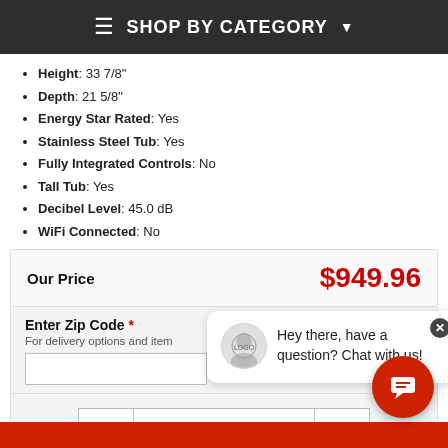≡ SHOP BY CATEGORY ▾
Height: 33 7/8"
Depth: 21 5/8"
Energy Star Rated: Yes
Stainless Steel Tub: Yes
Fully Integrated Controls: No
Tall Tub: Yes
Decibel Level: 45.0 dB
WiFi Connected: No
Our Price   $949.96
Enter Zip Code * For delivery options and item availability
[Figure (screenshot): Chat popup bubble with avatar and text: Hey there, have a question? Chat with us! with a close button.]
- 1 +